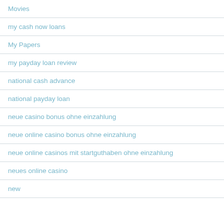Movies
my cash now loans
My Papers
my payday loan review
national cash advance
national payday loan
neue casino bonus ohne einzahlung
neue online casino bonus ohne einzahlung
neue online casinos mit startguthaben ohne einzahlung
neues online casino
new